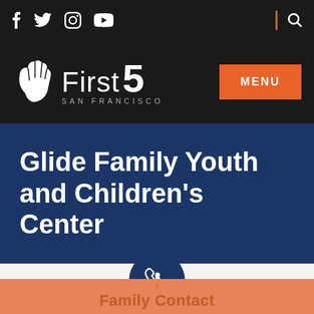First 5 San Francisco - social navigation bar with Facebook, Twitter, Instagram, YouTube icons and search
[Figure (logo): First 5 San Francisco logo: white hand icon with text 'First 5 SAN FRANCISCO' and orange MENU button]
Glide Family Youth and Children's Center
[Figure (illustration): Dark blue circular phone/contact icon on white background]
Family Contact